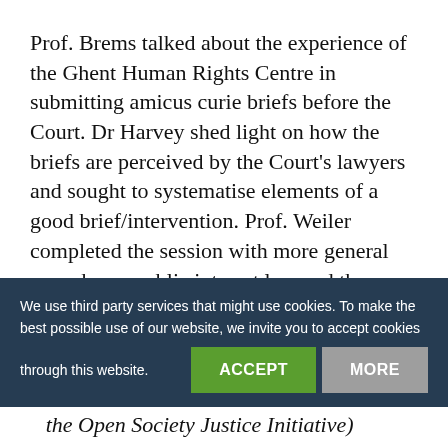Prof. Brems talked about the experience of the Ghent Human Rights Centre in submitting amicus curie briefs before the Court. Dr Harvey shed light on how the briefs are perceived by the Court's lawyers and sought to systematise elements of a good brief/intervention. Prof. Weiler completed the session with more general remarks on public interest law and the potential contribution of PhD students to
We use third party services that might use cookies. To make the best possible use of our website, we invite you to accept cookies through this website. [ACCEPT] [MORE]
James Goldston (Executive Director of the Open Society Justice Initiative)